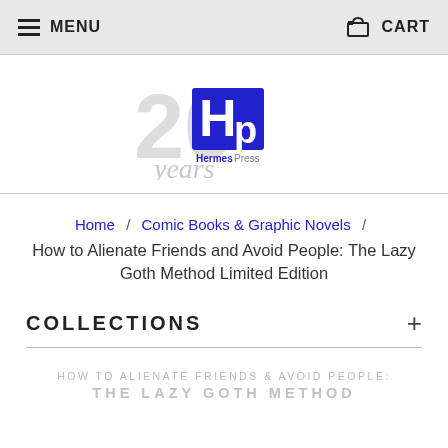MENU   CART
[Figure (logo): Hermes Press 20 years anniversary logo — blue Hp letters with grey '20' and 'years' text]
Home / Comic Books & Graphic Novels / How to Alienate Friends and Avoid People: The Lazy Goth Method Limited Edition
COLLECTIONS +
[Figure (illustration): Partial book cover preview showing text: 'HOW TO ALIENATE FRIENDS & AVOID PEOPLE: THE LAZY GOTH METHOD' in grey/light lettering]